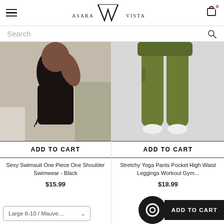ASARA VISTA - navigation header with hamburger menu and cart icon (0 items)
Search
[Figure (photo): Black one-piece swimsuit worn by a model, side-view, with lace-up sides, in a bedroom setting]
ADD TO CART
Sexy Swimsuit One Piece One Shoulder Swimwear - Black
$15.99
[Figure (photo): Olive/army green high-waist leggings worn by a model from waist down, white background]
ADD TO CART
Stretchy Yoga Pants Pocket High Waist Leggings Workout Gym...
$18.99
Large 8-10 / Mauve…
ADD TO CART